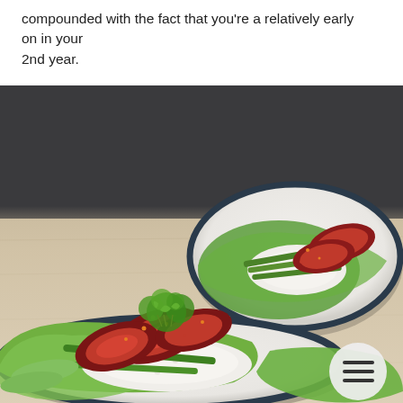compounded with the fact that you're a relatively early on in your 2nd year.
[Figure (photo): Two white plates with dark blue rims on a light wooden table, each containing a salad with sliced grilled beef, green beans, rice, and fresh herbs. The foreground plate is close-up with sliced pink steak, green asparagus, white rice, lettuce leaves, and cilantro garnish with chili flakes. The background plate shows a similar arrangement. A hamburger/menu icon button appears in the bottom right.]